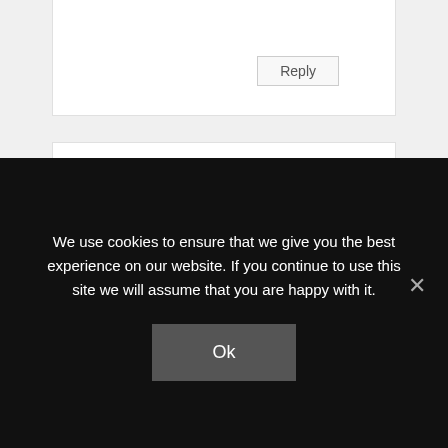Reply
Cheryl Malandrinos
August 24, 2011 at 7:03 pm
[Figure (photo): Circular avatar photo of Cheryl Malandrinos, a woman with dark hair and glasses wearing a red jacket]
Since I work in online book promotion, I've been in touch with many publicists. I've never hired one for myself, though. They are expensive! I set up my own virtual book tour
We use cookies to ensure that we give you the best experience on our website. If you continue to use this site we will assume that you are happy with it.
Ok